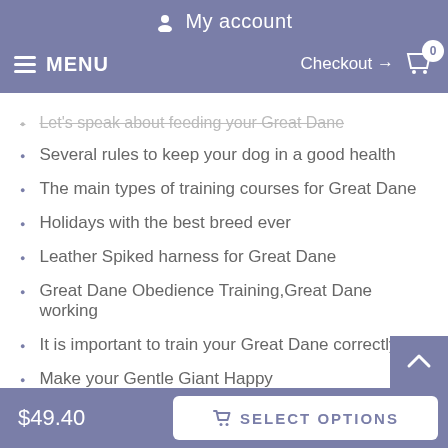My account
MENU   Checkout → 0
Let's speak about feeding your Great Dane
Several rules to keep your dog in a good health
The main types of training courses for Great Dane
Holidays with the best breed ever
Leather Spiked harness for Great Dane
Great Dane Obedience Training,Great Dane working
It is important to train your Great Dane correctly
Make your Gentle Giant Happy
Some information about dog aggression
Gentle Giants need physical exercise to stay safe and sound
$49.40   SELECT OPTIONS